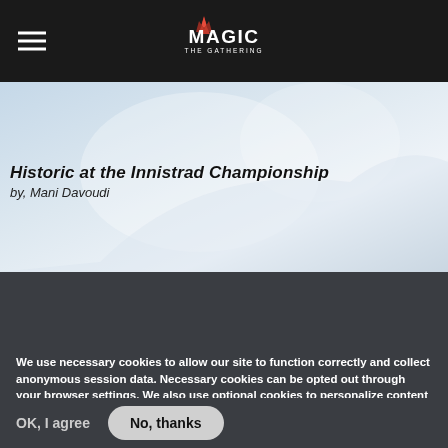Magic: The Gathering
Historic at the Innistrad Championship
by, Mani Davoudi
[Figure (screenshot): Dark gray section with ARTICLES label partially visible at bottom]
We use necessary cookies to allow our site to function correctly and collect anonymous session data. Necessary cookies can be opted out through your browser settings. We also use optional cookies to personalize content and ads, provide social medial features and analyze web traffic. By clicking “OK, I agree,” you consent to optional cookies. (Learn more about cookies.)
OK, I agree    No, thanks